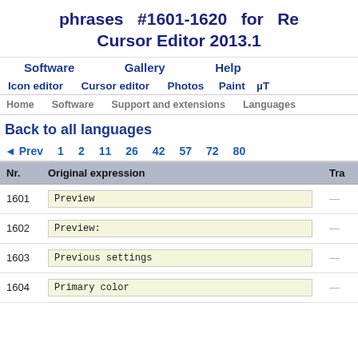phrases #1601-1620 for Re... Cursor Editor 2013.1
Software | Gallery | Help | Icon editor | Cursor editor | Photos | Paint | µT
Home | Software | Support and extensions | Languages
Back to all languages
◄ Prev  1  2  11  26  42  57  72  80
| Nr. | Original expression | Tra |
| --- | --- | --- |
| 1601 | Preview | — |
| 1602 | Preview: | — |
| 1603 | Previous settings | — |
| 1604 | Primary color | — |